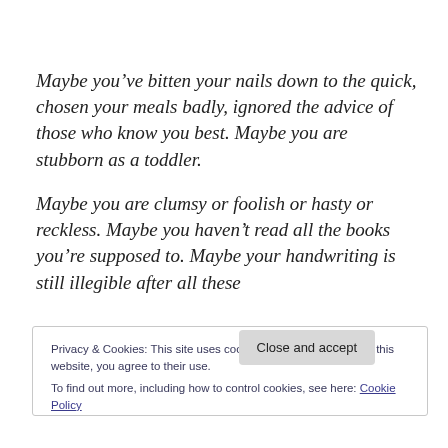Maybe you’ve bitten your nails down to the quick, chosen your meals badly, ignored the advice of those who know you best. Maybe you are stubborn as a toddler.
Maybe you are clumsy or foolish or hasty or reckless. Maybe you haven’t read all the books you’re supposed to. Maybe your handwriting is still illegible after all these
Privacy & Cookies: This site uses cookies. By continuing to use this website, you agree to their use.
To find out more, including how to control cookies, see here: Cookie Policy
Close and accept